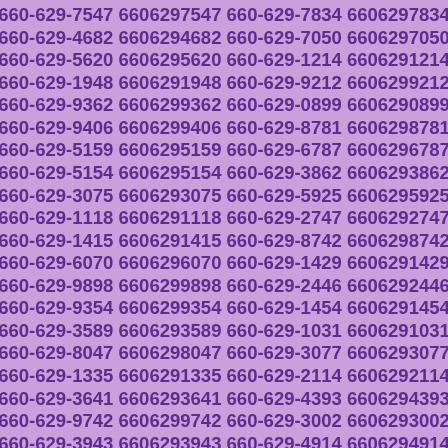660-629-7547 6606297547 660-629-7834 6606297834 660-629-4682 6606294682 660-629-7050 6606297050 660-629-5620 6606295620 660-629-1214 6606291214 660-629-1948 6606291948 660-629-9212 6606299212 660-629-9362 6606299362 660-629-0899 6606290899 660-629-9406 6606299406 660-629-8781 6606298781 660-629-5159 6606295159 660-629-6787 6606296787 660-629-5154 6606295154 660-629-3862 6606293862 660-629-3075 6606293075 660-629-5925 6606295925 660-629-1118 6606291118 660-629-2747 6606292747 660-629-1415 6606291415 660-629-8742 6606298742 660-629-6070 6606296070 660-629-1429 6606291429 660-629-9898 6606299898 660-629-2446 6606292446 660-629-9354 6606299354 660-629-1454 6606291454 660-629-3589 6606293589 660-629-1031 6606291031 660-629-8047 6606298047 660-629-3077 6606293077 660-629-1335 6606291335 660-629-2114 6606292114 660-629-3641 6606293641 660-629-4393 6606294393 660-629-9742 6606299742 660-629-3002 6606293002 660-629-3943 6606293943 660-629-4914 6606294914